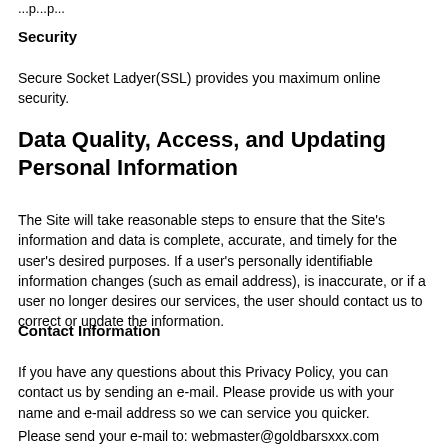Security
Secure Socket Ladyer(SSL) provides you maximum online security.
Data Quality, Access, and Updating Personal Information
The Site will take reasonable steps to ensure that the Site's information and data is complete, accurate, and timely for the user's desired purposes. If a user's personally identifiable information changes (such as email address), is inaccurate, or if a user no longer desires our services, the user should contact us to correct or update the information.
Contact Information
If you have any questions about this Privacy Policy, you can contact us by sending an e-mail. Please provide us with your name and e-mail address so we can service you quicker.
Please send your e-mail to: webmaster@goldbarsxxx.com